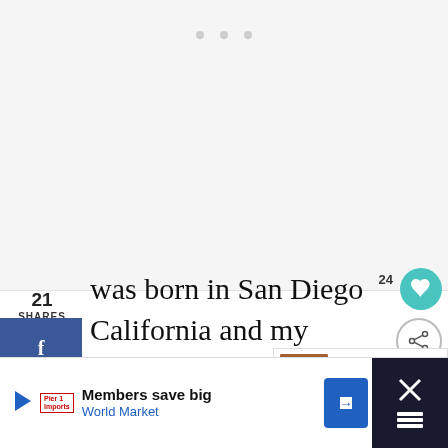[Figure (other): Empty whitish placeholder/ad box at top of page]
21
SHARES
[Figure (other): Social share buttons: Facebook (f), Twitter (bird), Pinterest (p)]
was born in San Diego California and my husband Andy is originally from Seattle Washington. This is our first adventure in living abroad, but we spent
24
[Figure (other): Share icon button (circular)]
[Figure (other): Heart/save circular teal button]
[Figure (other): What's Next panel with thumbnail: Our Life in Ecuador: To...]
[Figure (other): Bottom advertisement bar: Members save big, World Market with play icon and navigation arrow. Dark close section on right.]